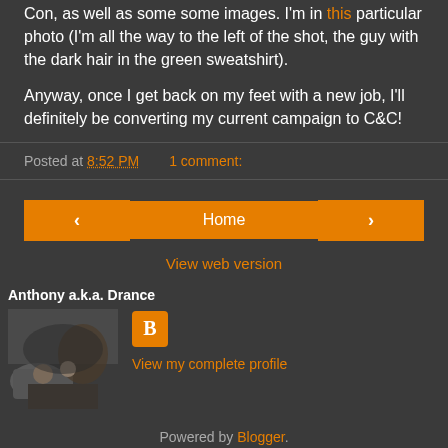Con, as well as some some images. I'm in this particular photo (I'm all the way to the left of the shot, the guy with the dark hair in the green sweatshirt).
Anyway, once I get back on my feet with a new job, I'll definitely be converting my current campaign to C&C!
Posted at 8:52 PM   1 comment:
[Figure (infographic): Navigation buttons: left arrow, Home button, right arrow, and View web version link]
Anthony a.k.a. Drance
[Figure (photo): Profile photo of the author, showing people near a military vehicle]
View my complete profile
Powered by Blogger.